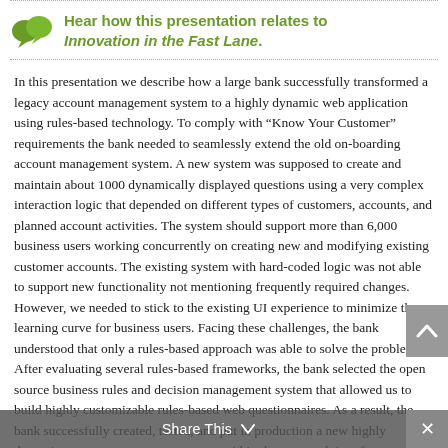Hear how this presentation relates to Innovation in the Fast Lane.
In this presentation we describe how a large bank successfully transformed a legacy account management system to a highly dynamic web application using rules-based technology. To comply with “Know Your Customer” requirements the bank needed to seamlessly extend the old on-boarding account management system. A new system was supposed to create and maintain about 1000 dynamically displayed questions using a very complex interaction logic that depended on different types of customers, accounts, and planned account activities. The system should support more than 6,000 business users working concurrently on creating new and modifying existing customer accounts. The existing system with hard-coded logic was not able to support new functionality not mentioning frequently required changes. However, we needed to stick to the existing UI experience to minimize the learning curve for business users. Facing these challenges, the bank understood that only a rules-based approach was able to solve the problem. After evaluating several rules-based frameworks, the bank selected the open source business rules and decision management system that allowed us to build highly customizable rules-based web questionnaires. As a result, the bank successfully created, tested, and put in production a new highly dynamic account management system within the expected time-frame and budget. Being in production for a few years, the new system has proved the